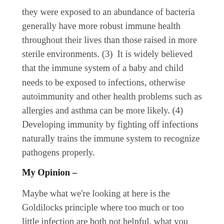they were exposed to an abundance of bacteria generally have more robust immune health throughout their lives than those raised in more sterile environments. (3)  It is widely believed that the immune system of a baby and child needs to be exposed to infections, otherwise autoimmunity and other health problems such as allergies and asthma can be more likely. (4) Developing immunity by fighting off infections naturally trains the immune system to recognize pathogens properly.
My Opinion –
Maybe what we're looking at here is the Goldilocks principle where too much or too little infection are both not helpful, what you